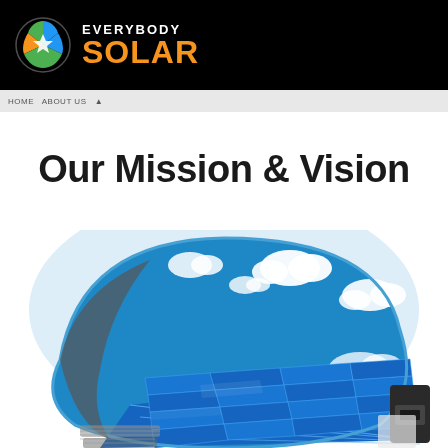EVERYBODY SOLAR
Our Mission & Vision
[Figure (illustration): A light bulb filled with a scene of blue sky, clouds, and solar panels arranged in a grid, symbolizing solar energy and clean power.]